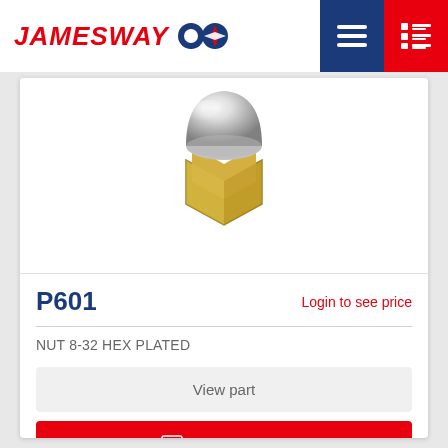JAMESWAY
[Figure (photo): A chrome/nickel-plated hex dome cap nut (acorn nut) with a polished dome top and hexagonal base, photographed on white background.]
P601
Login to see price
NUT 8-32 HEX PLATED
View part
Add to Quote